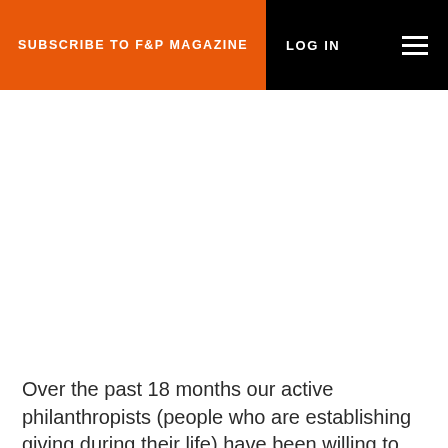SUBSCRIBE TO F&P MAGAZINE | LOG IN
Over the past 18 months our active philanthropists (people who are establishing giving during their life) have been willing to re-evaluate their giving choices and the trends we've seen have been broad and